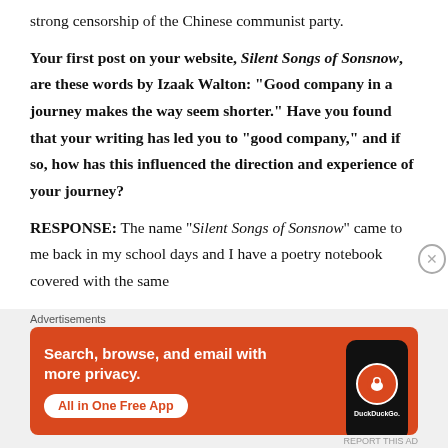strong censorship of the Chinese communist party.
Your first post on your website, Silent Songs of Sonsnow, are these words by Izaak Walton: “Good company in a journey makes the way seem shorter.” Have you found that your writing has led you to “good company,” and if so, how has this influenced the direction and experience of your journey?
RESPONSE: The name “Silent Songs of Sonsnow” came to me back in my school days and I have a poetry notebook covered with the same
Advertisements
[Figure (other): DuckDuckGo advertisement banner: orange background with text 'Search, browse, and email with more privacy. All in One Free App' and DuckDuckGo logo on a phone graphic]